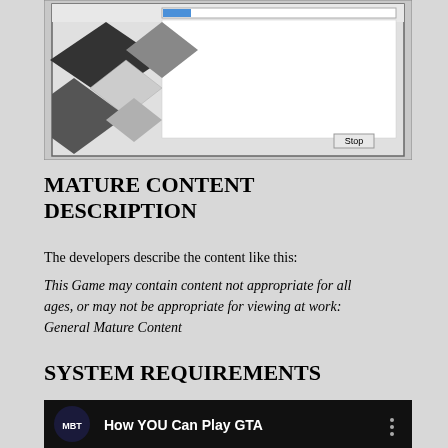[Figure (screenshot): A software installer or media player screenshot showing a Windows-style dialog box with a progress bar at the top. On the left side are overlapping diamond/rhombus shapes in black, white, and gray gradient pattern. The right portion is a white content area with a mouse cursor visible. A 'Stop' button appears at the bottom right of the dialog.]
MATURE CONTENT DESCRIPTION
The developers describe the content like this:
This Game may contain content not appropriate for all ages, or may not be appropriate for viewing at work: General Mature Content
SYSTEM REQUIREMENTS
[Figure (screenshot): A YouTube-style video thumbnail showing 'MBT' logo/icon on the left and text 'How YOU Can Play GTA' with a menu icon (three dots) on the right. The background is dark/black.]